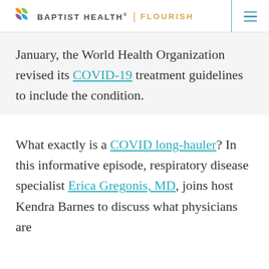BAPTIST HEALTH® | FLOURISH
January, the World Health Organization revised its COVID-19 treatment guidelines to include the condition.
What exactly is a COVID long-hauler? In this informative episode, respiratory disease specialist Erica Gregonis, MD, joins host Kendra Barnes to discuss what physicians are